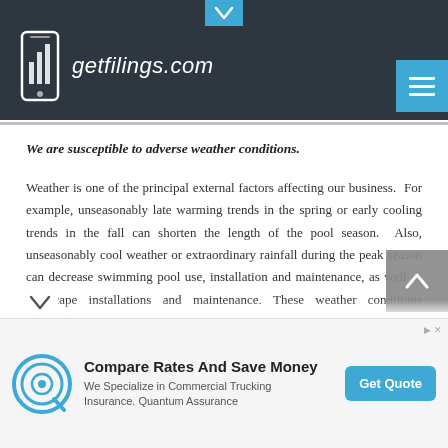getfilings.com
We are susceptible to adverse weather conditions.
Weather is one of the principal external factors affecting our business. For example, unseasonably late warming trends in the spring or early cooling trends in the fall can shorten the length of the pool season. Also, unseasonably cool weather or extraordinary rainfall during the peak season can decrease swimming pool use, installation and maintenance, as well as landscape installations and maintenance. These weather conditions adversely [affect the] sales of our products. Drought conditions or water management
[Figure (logo): Advertisement banner: Compare Rates And Save Money - We Specialize in Commercial Trucking Insurance. Quantum Assurance. Get Quote button.]